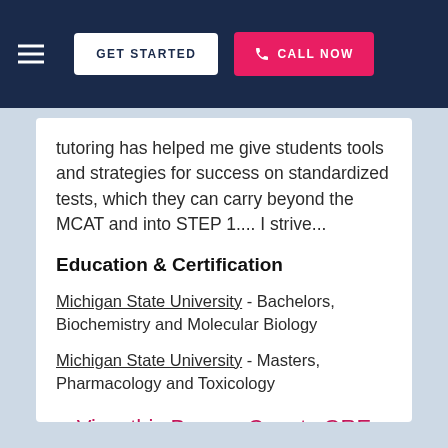GET STARTED | CALL NOW
tutoring has helped me give students tools and strategies for success on standardized tests, which they can carry beyond the MCAT and into STEP 1.... I strive...
Education & Certification
Michigan State University - Bachelors, Biochemistry and Molecular Biology
Michigan State University - Masters, Pharmacology and Toxicology
View this Bergen County GRE Tutor ▶